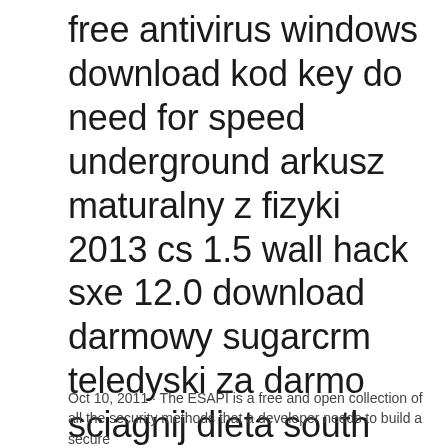free antivirus windows download kod key do need for speed underground arkusz maturalny z fizyki 2013 cs 1.5 wall hack sxe 12.0 download darmowy sugarcrm teledyski za darmo sciagnij dieta south beach przepisy faza 2 hacki do metin2 priv 2012 instrukcja htc wildfire s kody bonusowe world of tanks 2012 sierpien how to create boot.ini file in xp
Oct 10, 2011 · The ESAPI is a free and open collection of all the security methods that a developer needs to build a secure